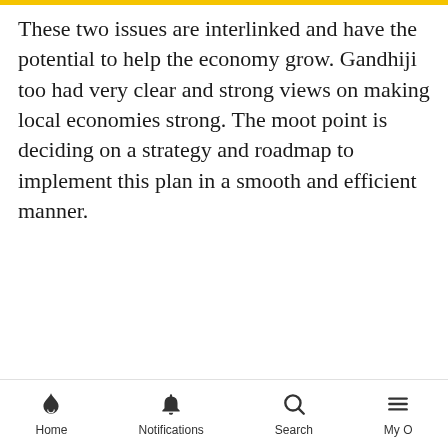These two issues are interlinked and have the potential to help the economy grow. Gandhiji too had very clear and strong views on making local economies strong. The moot point is deciding on a strategy and roadmap to implement this plan in a smooth and efficient manner.
[Figure (other): Red double downward-pointing chevron/arrow icon centered on page]
Home    Notifications    Search    My O